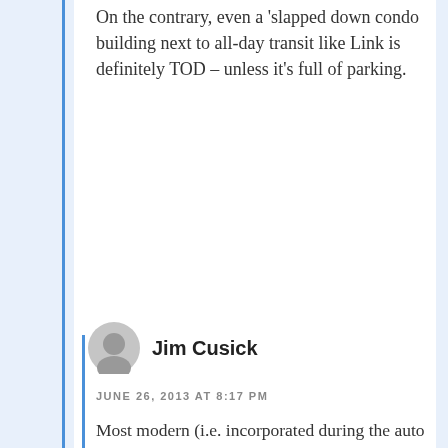On the contrary, even a 'slapped down condo building next to all-day transit like Link is definitely TOD – unless it's full of parking.
Jim Cusick
JUNE 26, 2013 AT 8:17 PM
Most modern (i.e. incorporated during the auto era) cities don't have a defined core. Many of them are still trying to find their identities.
I don't see how a P&R precludes any TOD in the walkable area, there are many established TOD munisipalites